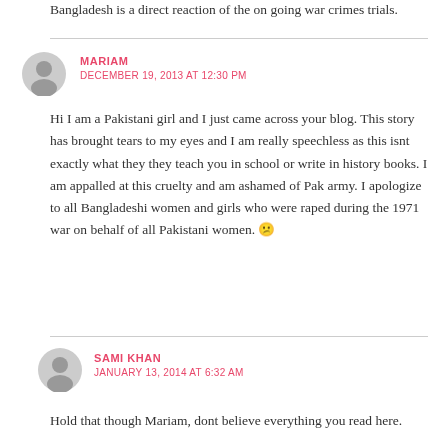Bangladesh is a direct reaction of the on going war crimes trials.
MARIAM
DECEMBER 19, 2013 AT 12:30 PM
Hi I am a Pakistani girl and I just came across your blog. This story has brought tears to my eyes and I am really speechless as this isnt exactly what they they teach you in school or write in history books. I am appalled at this cruelty and am ashamed of Pak army. I apologize to all Bangladeshi women and girls who were raped during the 1971 war on behalf of all Pakistani women. 😕
SAMI KHAN
JANUARY 13, 2014 AT 6:32 AM
Hold that though Mariam, dont believe everything you read here.